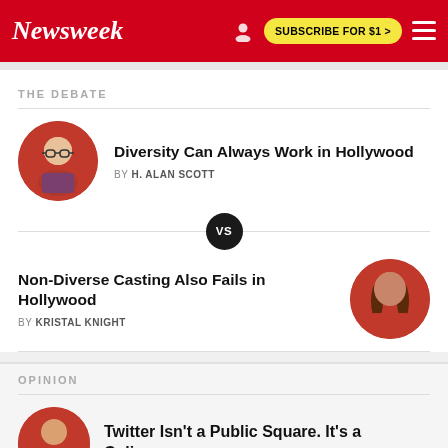Newsweek — SUBSCRIBE FOR $1 >
THE DEBATE
Diversity Can Always Work in Hollywood — BY H. ALAN SCOTT
VS
Non-Diverse Casting Also Fails in Hollywood — BY KRISTAL KNIGHT
OPINION
Twitter Isn't a Public Square. It's a Coliseum